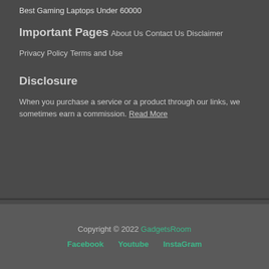Best Gaming Laptops Under 60000
Important Pages
About Us
Contact Us
Disclaimer
Privacy Policy
Terms and Use
Disclosure
When you purchase a service or a product through our links, we sometimes earn a commission. Read More
Copyright © 2022 GadgetsRoom
Facebook   Youtube   InstaGram